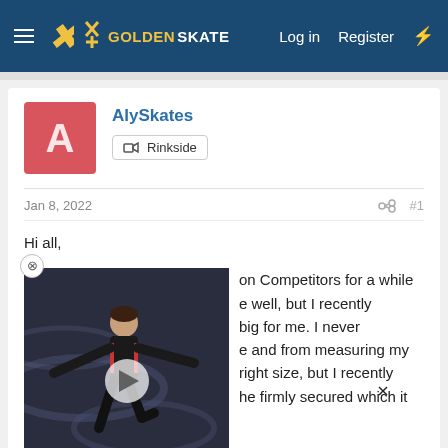GoldenSkate — Log in | Register
AlySkates
Rinkside
Jan 8, 2022   #1
Hi all,
[Figure (photo): Video thumbnail of a male figure skater in a black outfit performing on ice, with a play button overlay]
I've been skating in Jackson Competitors for a while and they fit me well, but I recently decided to go big for me. I never measured my feet and from measuring my feet they are the right size, but I recently learned the heel be firmly secured which it definitely is not in my current boots and slips up and down.